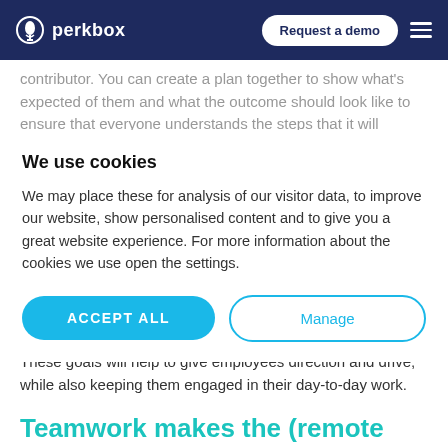perkbox | Request a demo
contributor. You can create a plan together to show what's expected of them and what the outcome should look like to ensure that everyone understands the steps that it will
We use cookies
We may place these for analysis of our visitor data, to improve our website, show personalised content and to give you a great website experience. For more information about the cookies we use open the settings.
These goals will help to give employees direction and drive, while also keeping them engaged in their day-to-day work.
Teamwork makes the (remote